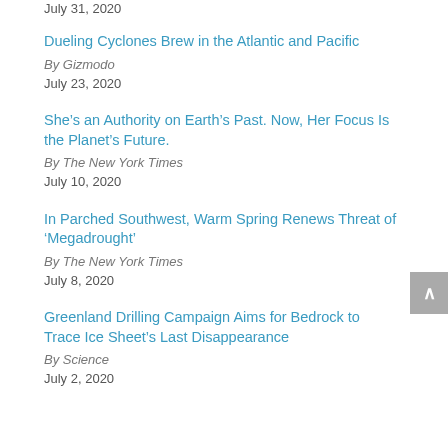July 31, 2020
Dueling Cyclones Brew in the Atlantic and Pacific
By Gizmodo
July 23, 2020
She’s an Authority on Earth’s Past. Now, Her Focus Is the Planet’s Future.
By The New York Times
July 10, 2020
In Parched Southwest, Warm Spring Renews Threat of ‘Megadrought’
By The New York Times
July 8, 2020
Greenland Drilling Campaign Aims for Bedrock to Trace Ice Sheet’s Last Disappearance
By Science
July 2, 2020